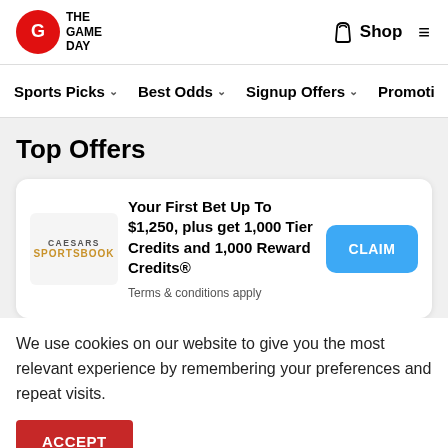THE GAME DAY | Shop
Sports Picks | Best Odds | Signup Offers | Promotio
Top Offers
Your First Bet Up To $1,250, plus get 1,000 Tier Credits and 1,000 Reward Credits®
Terms & conditions apply
We use cookies on our website to give you the most relevant experience by remembering your preferences and repeat visits.
ACCEPT